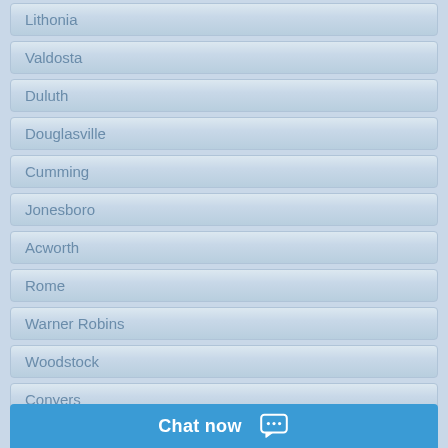Lithonia
Valdosta
Duluth
Douglasville
Cumming
Jonesboro
Acworth
Rome
Warner Robins
Woodstock
Conyers
Smyrna
Kennesaw